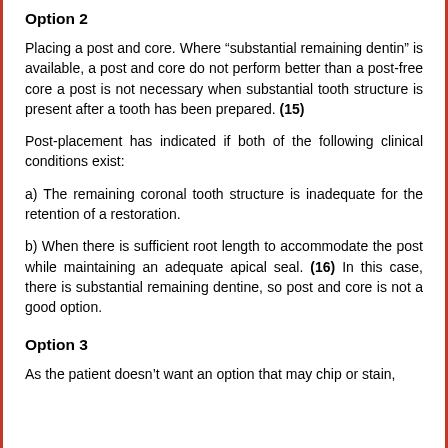Option 2
Placing a post and core. Where “substantial remaining dentin” is available, a post and core do not perform better than a post-free core a post is not necessary when substantial tooth structure is present after a tooth has been prepared. (15)
Post-placement has indicated if both of the following clinical conditions exist:
a) The remaining coronal tooth structure is inadequate for the retention of a restoration.
b) When there is sufficient root length to accommodate the post while maintaining an adequate apical seal. (16) In this case, there is substantial remaining dentine, so post and core is not a good option.
Option 3
As the patient doesn’t want an option that may chip or stain,